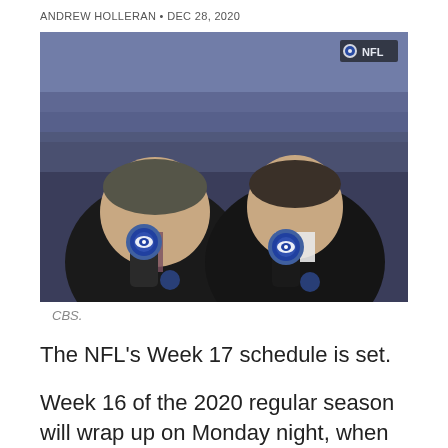ANDREW HOLLERAN • DEC 28, 2020
[Figure (photo): Two male sports broadcasters in dark suits holding CBS microphones, smiling, with a stadium full of fans in the background. An NFL logo appears in the upper right corner of the image.]
CBS.
The NFL's Week 17 schedule is set.
Week 16 of the 2020 regular season will wrap up on Monday night, when the Buffalo Bills take on the New England Patriots. How...